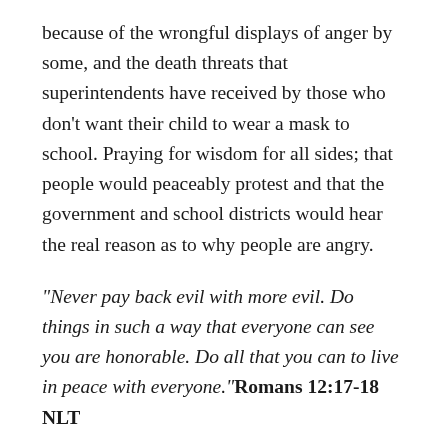because of the wrongful displays of anger by some, and the death threats that superintendents have received by those who don't want their child to wear a mask to school. Praying for wisdom for all sides; that people would peaceably protest and that the government and school districts would hear the real reason as to why people are angry.
“Never pay back evil with more evil. Do things in such a way that everyone can see you are honorable. Do all that you can to live in peace with everyone.” Romans 12:17-18 NLT
“But the wisdom from above is first of all pure. It is also peace loving, gentle at all times, and willing